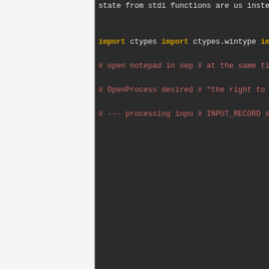[Figure (screenshot): Python source code on dark background showing imports of ctypes, ctypes.wintypes, subprocess, comments about opening notepad and process synchronization, and variable definitions for SYNCHRONIZE, STD_INPUT_HANDLE, INFINITE, with partial lines cut off on the right]